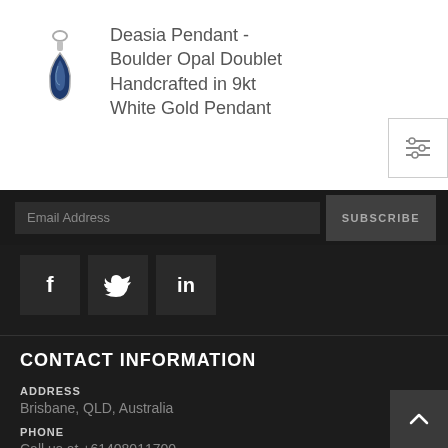Deasia Pendant - Boulder Opal Doublet Handcrafted in 9kt White Gold Pendant
[Figure (illustration): Small teardrop-shaped pendant with blue opal stone in white gold setting]
Email Address  SUBSCRIBE
[Figure (other): Facebook icon square button]
[Figure (other): Twitter icon square button]
[Figure (other): LinkedIn icon square button]
CONTACT INFORMATION
ADDRESS
Brisbane, QLD, Australia
PHONE
Call us at +61408011700